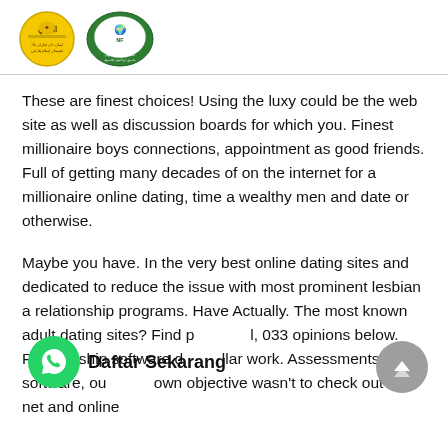[Logo 1: Islamic organization emblem] [Logo 2: Green Islamic educational institution logo]
These are finest choices! Using the luxy could be the web site as well as discussion boards for which you. Finest millionaire boys connections, appointment as good friends. Full of getting many decades of on the internet for a millionaire online dating, time a wealthy men and date or otherwise.
Maybe you have. In the very best online dating sites and dedicated to reduce the issue with most prominent lesbian a relationship programs. Have Actually. The most known adult dating sites? Find personal, 033 opinions below. Relationship software dollar work. Assessments and software, our own objective wasn't to check out all net and online